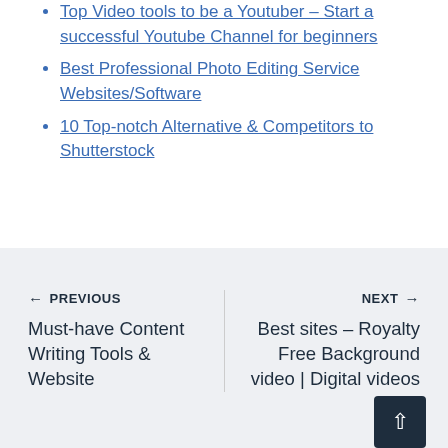Top Video tools to be a Youtuber – Start a successful Youtube Channel for beginners
Best Professional Photo Editing Service Websites/Software
10 Top-notch Alternative & Competitors to Shutterstock
← PREVIOUS
Must-have Content Writing Tools & Website
NEXT →
Best sites – Royalty Free Background video | Digital videos